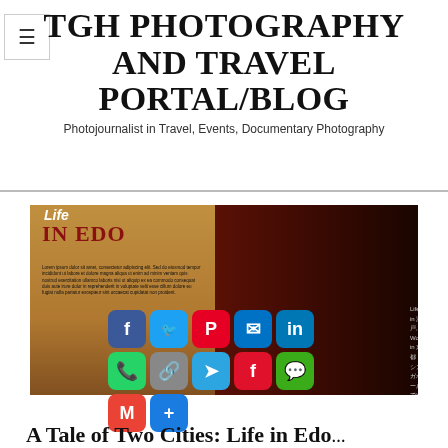TGH PHOTOGRAPHY AND TRAVEL PORTAL/BLOG
Photojournalist in Travel, Events, Documentary Photography
[Figure (photo): Exhibition display showing 'Life IN EDO' text panel with dark gallery background and social media share icons overlay (Facebook, Twitter, Pinterest, Mail, LinkedIn, WhatsApp, Link, Telegram, Flipboard, WeChat, Gmail, More)]
A Tale of Two Cities: Life in Edo...